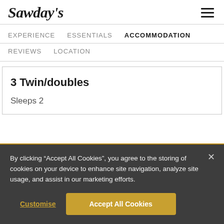[Figure (logo): Sawday's logo in italic serif font]
EXPERIENCE   ESSENTIALS   ACCOMMODATION   REVIEWS   LOCATION
3 Twin/doubles
Sleeps 2
By clicking “Accept All Cookies”, you agree to the storing of cookies on your device to enhance site navigation, analyze site usage, and assist in our marketing efforts.